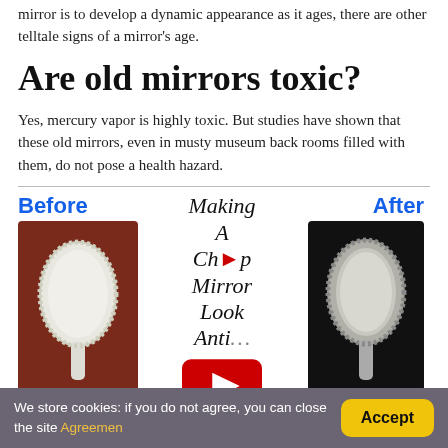mirror is to develop a dynamic appearance as it ages, there are other telltale signs of a mirror's age.
Are old mirrors toxic?
Yes, mercury vapor is highly toxic. But studies have shown that these old mirrors, even in musty museum back rooms filled with them, do not pose a health hazard.
[Figure (photo): Before and after comparison of an antique hand mirror being restored, with a YouTube video thumbnail overlay in the center showing 'Making A Cheap Mirror Look Antique' text. Left panel labeled 'Before' shows a white-coated ornate hand mirror on dark red background. Center shows italic text and a YouTube play button. Right panel labeled 'After' shows the same mirror restored to silver finish on black background.]
We store cookies: if you do not agree, you can close the site Agreemen